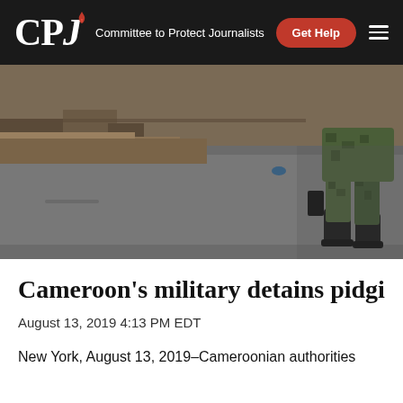CPJ Committee to Protect Journalists | Get Help
[Figure (photo): A soldier in camouflage uniform and black boots standing on an empty road. The scene appears to be in Cameroon, with a dusty street and sparse buildings in the background.]
Cameroon's military detains pidgin ne
August 13, 2019 4:13 PM EDT
New York, August 13, 2019–Cameroonian authorities